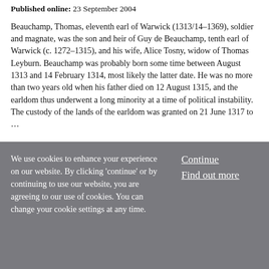Published online: 23 September 2004
Beauchamp, Thomas, eleventh earl of Warwick (1313/14–1369), soldier and magnate, was the son and heir of Guy de Beauchamp, tenth earl of Warwick (c. 1272–1315), and his wife, Alice Tosny, widow of Thomas Leyburn. Beauchamp was probably born some time between August 1313 and 14 February 1314, most likely the latter date. He was no more than two years old when his father died on 12 August 1315, and the earldom thus underwent a long minority at a time of political instability. The custody of the lands of the earldom was granted on 21 June 1317 to …
We use cookies to enhance your experience on our website. By clicking 'continue' or by continuing to use our website, you are agreeing to our use of cookies. You can change your cookie settings at any time.
Continue
Find out more